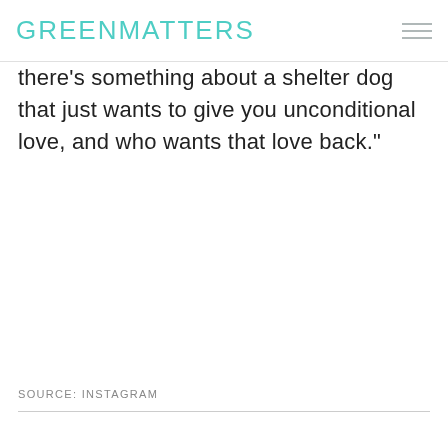GREENMATTERS
there's something about a shelter dog that just wants to give you unconditional love, and who wants that love back."
SOURCE: INSTAGRAM